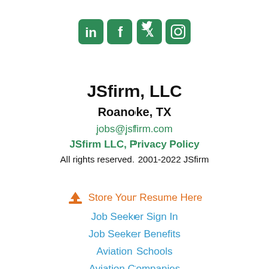[Figure (illustration): Social media icons for LinkedIn, Facebook, Twitter, and Instagram in green rounded square style]
JSfirm, LLC
Roanoke, TX
jobs@jsfirm.com
JSfirm LLC, Privacy Policy
All rights reserved. 2001-2022 JSfirm
Store Your Resume Here
Job Seeker Sign In
Job Seeker Benefits
Aviation Schools
Aviation Companies
Post A Job
Search Resumes